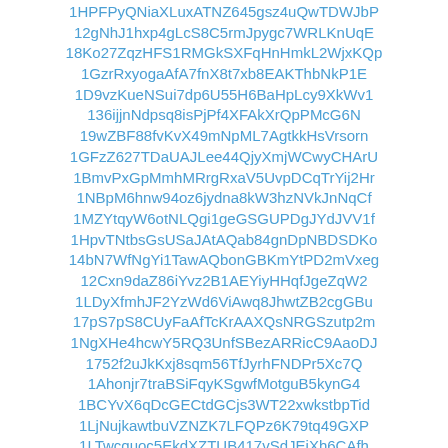1HPFPyQNiaXLuxATNZ645gsz4uQwTDWJbP
12gNhJ1hxp4gLcS8C5rmJpygc7WRLKnUqE
18Ko27ZqzHFS1RMGkSXFqHnHmkL2WjxKQp
1GzrRxyogaAfA7fnX8t7xb8EAKThbNkP1E
1D9vzKueNSui7dp6U55H6BaHpLcy9XkWv1
136ijjnNdpsq8isPjPf4XFAkXrQpPMcG6N
19wZBF88fvKvX49mNpML7AgtkkHsVrsorn
1GFzZ627TDaUAJLee44QjyXmjWCwyCHArU
1BmvPxGpMmhMRrgRxaV5UvpDCqTrYij2Hr
1NBpM6hnw94oz6jydna8kW3hzNVkJnNqCf
1MZYtqyW6otNLQgi1geGSGUPDgJYdJVV1f
1HpvTNtbsGsUSaJAtAQab84gnDpNBDSDKo
14bN7WfNgYi1TawAQbonGBKmYtPD2mVxeg
12Cxn9daZ86iYvz2B1AEYiyHHqfJgeZqW2
1LDyXfmhJF2YzWd6ViAwq8JhwtZB2cgGBu
17pS7pS8CUyFaAfTcKrAAXQsNRGSzutp2m
1NgXHe4hcwY5RQ3UnfSBezARRicC9AaoDJ
1752f2uJkKxj8sqm56TfJyrhFNDPr5Xc7Q
1Ahonjr7traBSiFqyKSgwfMotguB5kynG4
1BCYvX6qDcGECtdGCjs3WT22xwkstbpTid
1LjNujkawtbuVZNZK7LFQPz6K79tq49GXP
1LTwcquoc5EkdXZTUB417vSdJEjXh6CAfh
18tDbJELtm4wUod4k2lI7GHoEnKQD4oY9vR